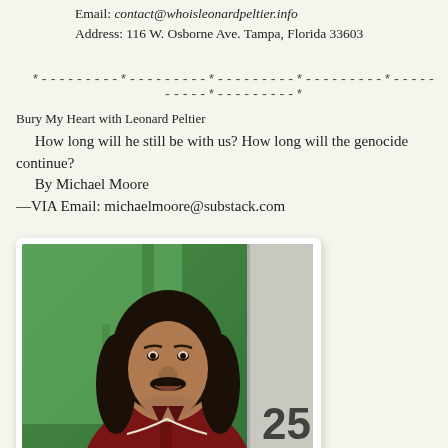Email: contact@whoisleonardpeltier.info
Address: 116 W. Osborne Ave. Tampa, Florida 33603
*---------*---------*---------*---------*----------*---------*
Bury My Heart with Leonard Peltier
How long will he still be with us? How long will the genocide continue?
By Michael Moore
—VIA Email: michaelmoore@substack.com
[Figure (photo): Portrait photo of Leonard Peltier, a man with long dark hair and mustache, wearing a dark red zip-up jacket, arms crossed, standing in front of a green background with the number 25 visible.]